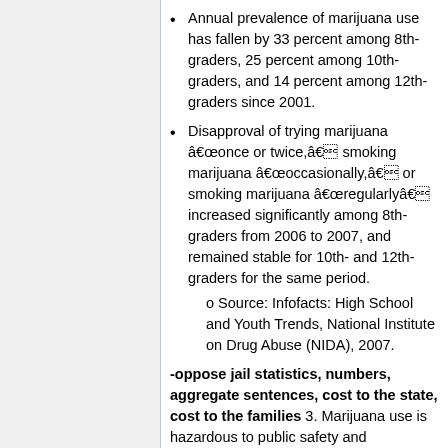Annual prevalence of marijuana use has fallen by 33 percent among 8th-graders, 25 percent among 10th-graders, and 14 percent among 12th-graders since 2001.
Disapproval of trying marijuana â€once or twice,â€ smoking marijuana â€occasionally,â€ or smoking marijuana â€regularlyâ€ increased significantly among 8th-graders from 2006 to 2007, and remained stable for 10th- and 12th-graders for the same period.
o Source: Infofacts: High School and Youth Trends, National Institute on Drug Abuse (NIDA), 2007.
-oppose jail statistics, numbers, aggregate sentences, cost to the state, cost to the families 3. Marijuana use is hazardous to public safety and